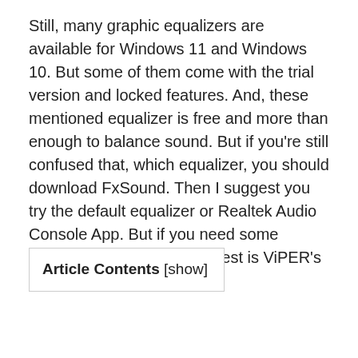Still, many graphic equalizers are available for Windows 11 and Windows 10. But some of them come with the trial version and locked features. And, these mentioned equalizer is free and more than enough to balance sound. But if you're still confused that, which equalizer, you should download FxSound. Then I suggest you try the default equalizer or Realtek Audio Console App. But if you need some advanced option then the best is ViPER's Audio.
| Article Contents [show] |